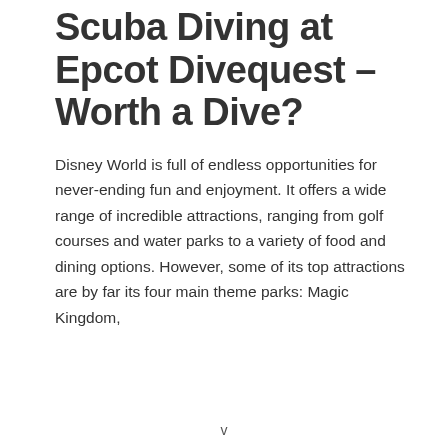Scuba Diving at Epcot Divequest – Worth a Dive?
Disney World is full of endless opportunities for never-ending fun and enjoyment. It offers a wide range of incredible attractions, ranging from golf courses and water parks to a variety of food and dining options. However, some of its top attractions are by far its four main theme parks: Magic Kingdom,